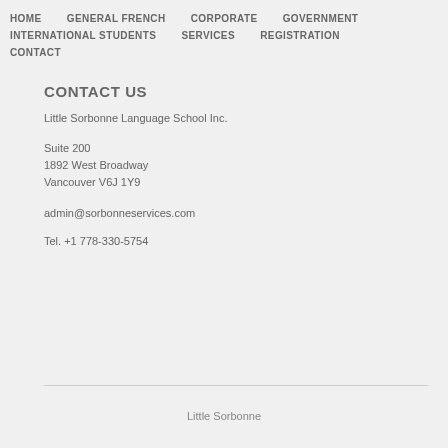HOME   GENERAL FRENCH   CORPORATE   GOVERNMENT   INTERNATIONAL STUDENTS   SERVICES   REGISTRATION   CONTACT
CONTACT US
Little Sorbonne Language School Inc.
Suite 200
1892 West Broadway
Vancouver V6J 1Y9
admin@sorbonneservices.com
Tel. +1 778-330-5754
Little Sorbonne